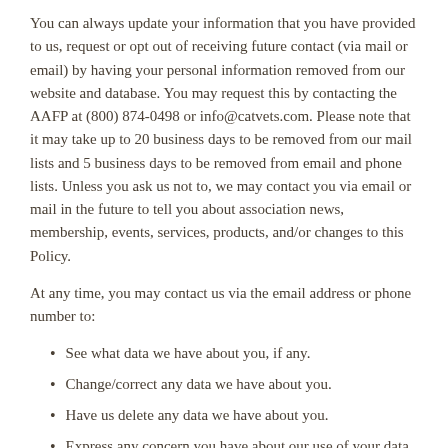You can always update your information that you have provided to us, request or opt out of receiving future contact (via mail or email) by having your personal information removed from our website and database. You may request this by contacting the AAFP at (800) 874-0498 or info@catvets.com. Please note that it may take up to 20 business days to be removed from our mail lists and 5 business days to be removed from email and phone lists. Unless you ask us not to, we may contact you via email or mail in the future to tell you about association news, membership, events, services, products, and/or changes to this Policy.
At any time, you may contact us via the email address or phone number to:
See what data we have about you, if any.
Change/correct any data we have about you.
Have us delete any data we have about you.
Express any concern you have about our use of your data.
Security of Your Personal Information
The AAFP is committed to protecting the security of your